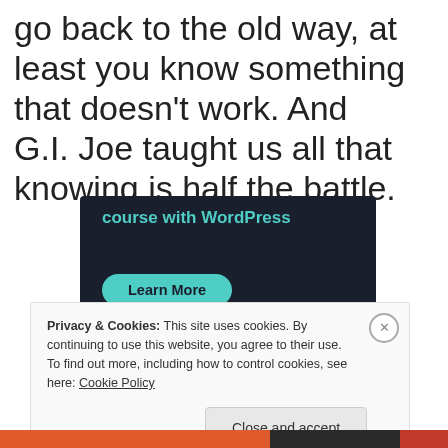go back to the old way, at least you know something that doesn't work. And G.I. Joe taught us all that knowing is half the battle.
[Figure (screenshot): Dark navy advertisement banner with teal text 'course with WordPress' and a teal 'Learn More' button]
Privacy & Cookies: This site uses cookies. By continuing to use this website, you agree to their use.
To find out more, including how to control cookies, see here: Cookie Policy
Close and accept